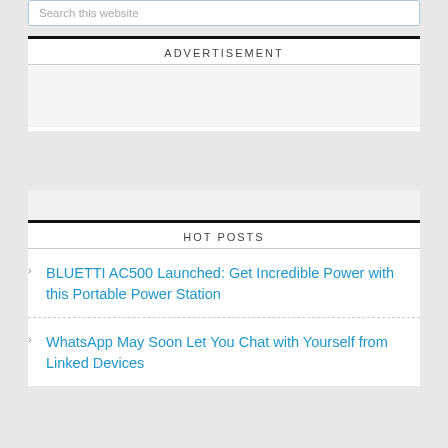Search this website
ADVERTISEMENT
HOT POSTS
BLUETTI AC500 Launched: Get Incredible Power with this Portable Power Station
WhatsApp May Soon Let You Chat with Yourself from Linked Devices